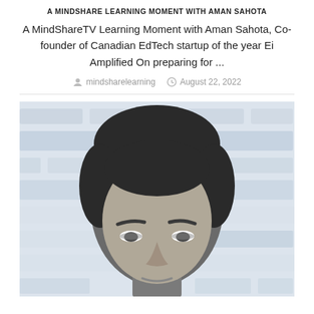A MINDSHARE LEARNING MOMENT WITH AMAN SAHOTA
A MindShareTV Learning Moment with Aman Sahota, Co-founder of Canadian EdTech startup of the year Ei Amplified On preparing for ...
mindsharelearning   August 22, 2022
[Figure (photo): Black and white close-up photo of a man (Aman Sahota) with a blurred spreadsheet/table background]